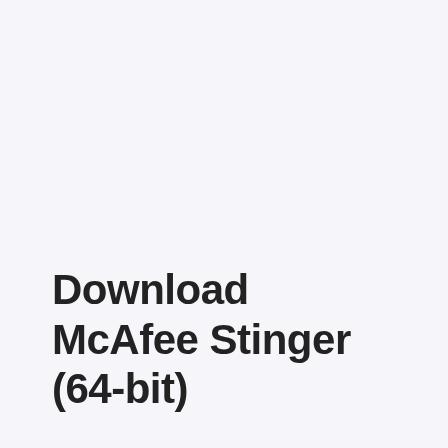Download McAfee Stinger (64-bit)